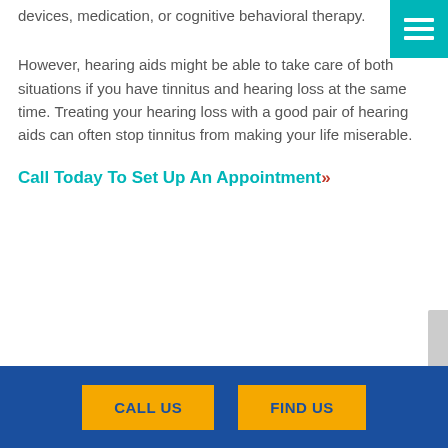devices, medication, or cognitive behavioral therapy.
However, hearing aids might be able to take care of both situations if you have tinnitus and hearing loss at the same time. Treating your hearing loss with a good pair of hearing aids can often stop tinnitus from making your life miserable.
Call Today To Set Up An Appointment»
The site information is for educational and informational
CALL US   FIND US